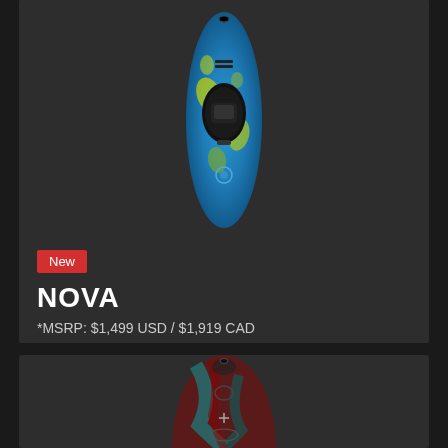[Figure (photo): Top-down view of a blue and yellow/green swirl patterned kayak (NOVA) on a dark background]
New
NOVA
*MSRP: $1,499 USD / $1,919 CAD
[Figure (photo): Nose/tip view of a dark red and blue swirl patterned kayak on a dark background]